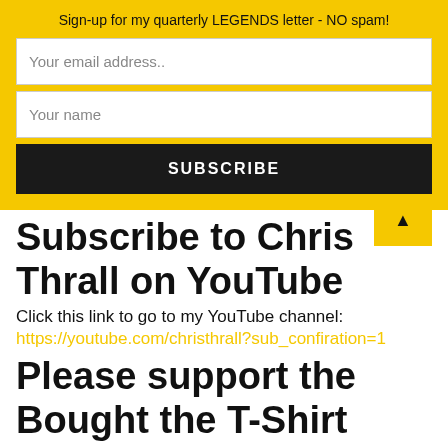Sign-up for my quarterly LEGENDS letter - NO spam!
Your email address..
Your name
SUBSCRIBE
Subscribe to Chris Thrall on YouTube
Click this link to go to my YouTube channel:
https://youtube.com/christhrall?sub_confiration=1
Please support the Bought the T-Shirt Podcast
Friends, please support the channel from only £3 a